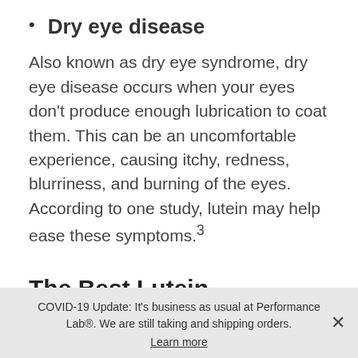Dry eye disease
Also known as dry eye syndrome, dry eye disease occurs when your eyes don't produce enough lubrication to coat them. This can be an uncomfortable experience, causing itchy, redness, blurriness, and burning of the eyes. According to one study, lutein may help ease these symptoms.³
The Best Lutein Supplement
COVID-19 Update: It's business as usual at Performance Lab®. We are still taking and shipping orders. Learn more